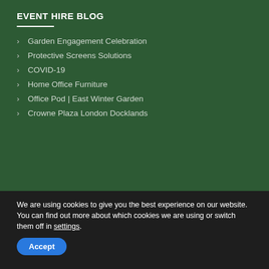EVENT HIRE BLOG
Garden Engagement Celebration
Protective Screens Solutions
COVID-19
Home Office Furniture
Office Pod | East Winter Garden
Crowne Plaza London Docklands
We are using cookies to give you the best experience on our website.
You can find out more about which cookies we are using or switch them off in settings.
Accept